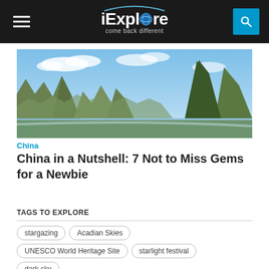iExplore — come back different
[Figure (photo): Panoramic view of karst limestone mountains in Guilin/Yangshuo, China, with green peaks under a blue sky with scattered clouds]
China
China in a Nutshell: 7 Not to Miss Gems for a Newbie
TAGS TO EXPLORE
stargazing
Acadian Skies
UNESCO World Heritage Site
starlight festival
dark sky